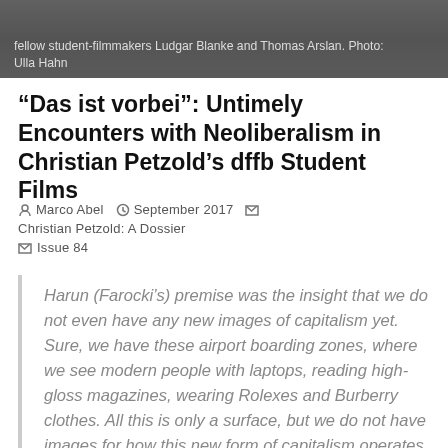[Figure (photo): Black and white photograph strip showing film students or filmmakers, partially visible at top of page]
fellow student-filmmakers Ludgar Blanke and Thomas Arslan. Photo: Ulla Hahn
“Das ist vorbei”: Untimely Encounters with Neoliberalism in Christian Petzold’s dffb Student Films
Marco Abel   September 2017   Christian Petzold: A Dossier
Issue 84
Harun (Farocki’s) premise was the insight that we do not even have any new images of capitalism yet. Sure, we have these airport boarding zones, where we see modern people with laptops, reading high-gloss magazines, wearing Rolexes and Burberry clothes. All this is only a surface, but we do not have images for how this new form of capitalism operates. We have books about it, but we do not find those images in films. In cinema, capitalism is